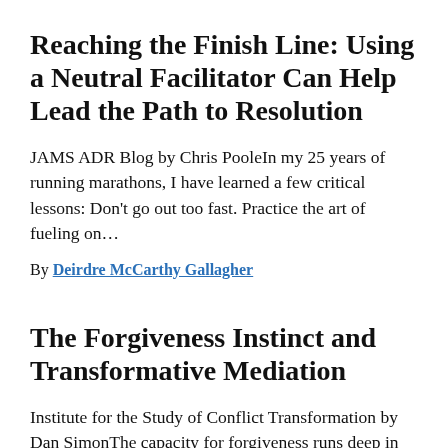Reaching the Finish Line: Using a Neutral Facilitator Can Help Lead the Path to Resolution
JAMS ADR Blog by Chris PooleIn my 25 years of running marathons, I have learned a few critical lessons: Don’t go out too fast. Practice the art of fueling on…
By Deirdre McCarthy Gallagher
The Forgiveness Instinct and Transformative Mediation
Institute for the Study of Conflict Transformation by Dan SimonThe capacity for forgiveness runs deep in our genes, according to Michael